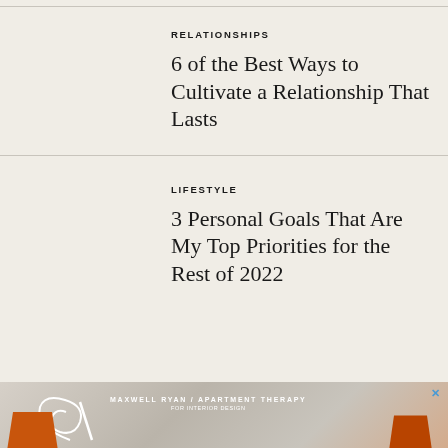RELATIONSHIPS
6 of the Best Ways to Cultivate a Relationship That Lasts
LIFESTYLE
3 Personal Goals That Are My Top Priorities for the Rest of 2022
[Figure (photo): Advertisement banner for Maxwell Ryan / Apartment Therapy]